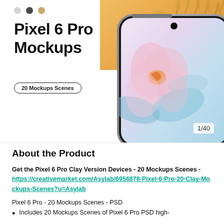[Figure (screenshot): Product banner for Pixel 6 Pro Mockups. Shows a smartphone (Pixel 6 Pro) with a floral screen wallpaper against an orange/wheat background with botanical elements. Three navigation dots (grey, dark, gold) appear in the top-left. A '20 Mockups Scenes' badge is shown. Slide counter '1/40' in bottom-right corner.]
Pixel 6 Pro Mockups
About the Product
Get the Pixel 6 Pro Clay Version Devices - 20 Mockups Scenes - https://creativemarket.com/Asylab/6956878-Pixel-6-Pro-20-Clay-Mockups-Scenes?u=Asylab
Pixel 6 Pro - 20 Mockups Scenes - PSD
Includes 20 Mockups Scenes of Pixel 6 Pro PSD high-